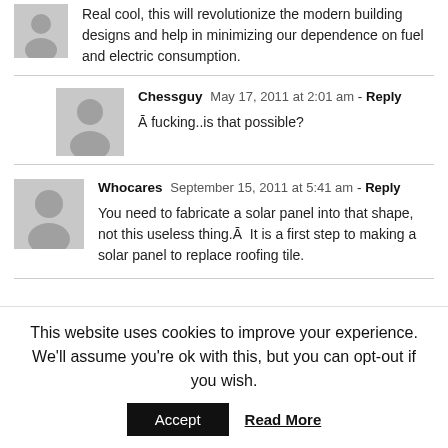Real cool, this will revolutionize the modern building designs and help in minimizing our dependence on fuel and electric consumption.
Chessguy  May 17, 2011 at 2:01 am - Reply
Ā fucking..is that possible?
Whocares  September 15, 2011 at 5:41 am - Reply
You need to fabricate a solar panel into that shape, not this useless thing.Ā  It is a first step to making a solar panel to replace roofing tile.
This website uses cookies to improve your experience. We'll assume you're ok with this, but you can opt-out if you wish.